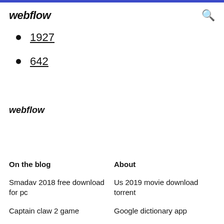webflow
1927
642
webflow
On the blog
About
Smadav 2018 free download for pc
Us 2019 movie download torrent
Captain claw 2 game
Google dictionary app